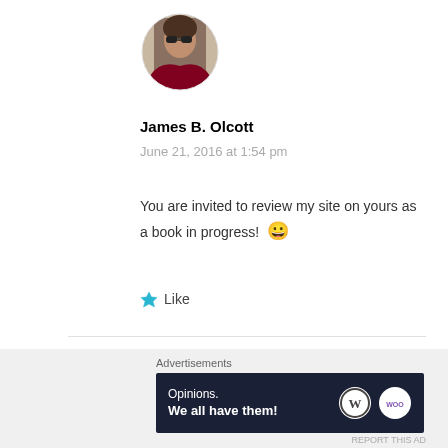[Figure (photo): Circular avatar photo of a person wearing sunglasses outdoors]
James B. Olcott
June 21, 2016 at 1:54 pm
You are invited to review my site on yours as a book in progress! 😀
★ Like
[Figure (logo): Blue decorative pattern/logo icon]
Advertisements
[Figure (screenshot): Dark advertisement banner reading: Opinions. We all have them! with WordPress and WooCommerce logos]